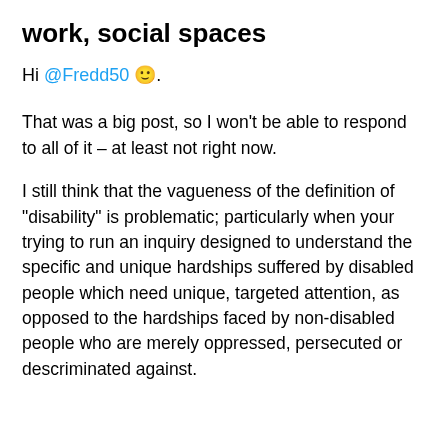work, social spaces
Hi @Fredd50 🙂.
That was a big post, so I won't be able to respond to all of it – at least not right now.
I still think that the vagueness of the definition of "disability" is problematic; particularly when your trying to run an inquiry designed to understand the specific and unique hardships suffered by disabled people which need unique, targeted attention, as opposed to the hardships faced by non-disabled people who are merely oppressed, persecuted or descriminated against.